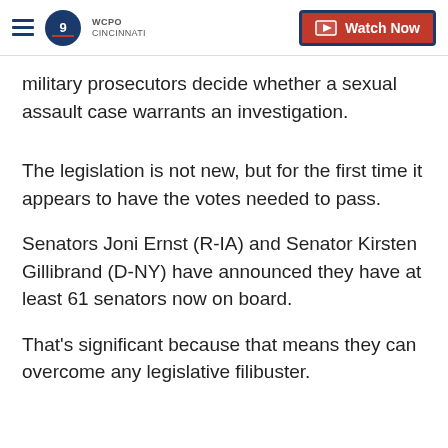WCPO 9 Cincinnati — Watch Now
military prosecutors decide whether a sexual assault case warrants an investigation.
The legislation is not new, but for the first time it appears to have the votes needed to pass.
Senators Joni Ernst (R-IA) and Senator Kirsten Gillibrand (D-NY) have announced they have at least 61 senators now on board.
That's significant because that means they can overcome any legislative filibuster.